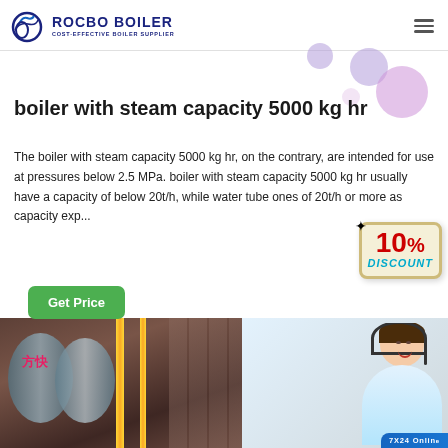ROCBO BOILER - COST-EFFECTIVE BOILER SUPPLIER
boiler with steam capacity 5000 kg hr
The boiler with steam capacity 5000 kg hr, on the contrary, are intended for use at pressures below 2.5 MPa. boiler with steam capacity 5000 kg hr usually have a capacity of below 20t/h, while water tube ones of 20t/h or more as capacity exp...
[Figure (other): Get Price button (green rounded rectangle)]
[Figure (other): 10% DISCOUNT promotional sticker badge]
[Figure (photo): Industrial boiler equipment photo on the left, customer service representative with headset on the right, with '7x24 Online' badge at bottom right]